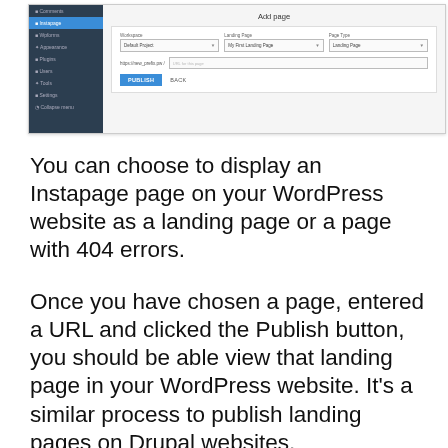[Figure (screenshot): Screenshot of WordPress Instapage plugin interface showing 'Add page' dialog with Workspace, Landing Page, Page Type fields, a URL input, and Publish/Back buttons. Left sidebar shows WordPress navigation menu with Instapage highlighted.]
You can choose to display an Instapage page on your WordPress website as a landing page or a page with 404 errors.
Once you have chosen a page, entered a URL and clicked the Publish button, you should be able view that landing page in your WordPress website. It's a similar process to publish landing pages on Drupal websites.